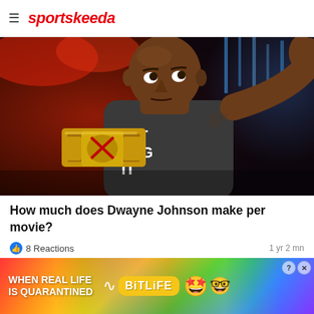sportskeeda
[Figure (photo): Dwayne 'The Rock' Johnson wearing a black sleeveless 'JUST BRING IT' shirt and holding a WWE championship belt, pointing at it with one hand while raising the other arm]
How much does Dwayne Johnson make per movie?
👍 8 Reactions   1 yr 2 mn
👍 Like   💬 Comment   ➦ Share
[Figure (infographic): BitLife advertisement banner with rainbow gradient background. Text reads: WHEN REAL LIFE IS QUARANTINED with BitLife logo and emoji characters]